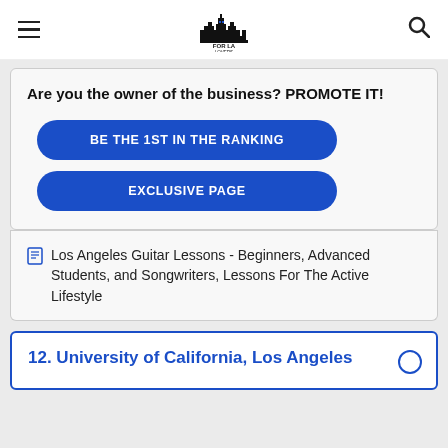FOR LA LOVERS
Are you the owner of the business? PROMOTE IT!
BE THE 1ST IN THE RANKING
EXCLUSIVE PAGE
Los Angeles Guitar Lessons - Beginners, Advanced Students, and Songwriters, Lessons For The Active Lifestyle
12. University of California, Los Angeles